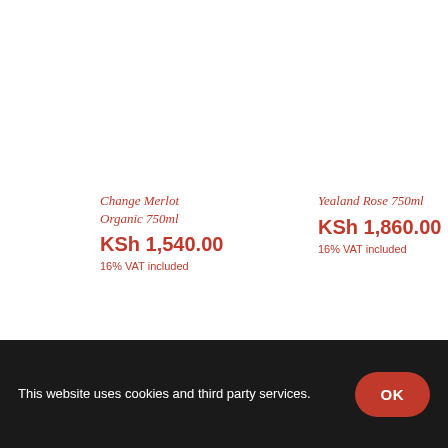Change Merlot Organic 750ml
KSh 1,540.00
16% VAT included
Yealand Rose 750ml
KSh 1,860.00
16% VAT included
This website uses cookies and third party services.
OK